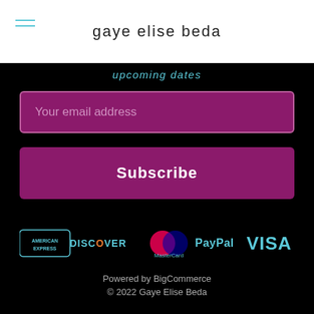gaye elise beda
upcoming dates
Your email address
Subscribe
[Figure (logo): Payment method logos: American Express, Discover, MasterCard, PayPal, Visa]
Powered by BigCommerce © 2022 Gaye Elise Beda